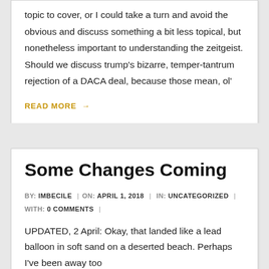topic to cover, or I could take a turn and avoid the obvious and discuss something a bit less topical, but nonetheless important to understanding the zeitgeist. Should we discuss trump's bizarre, temper-tantrum rejection of a DACA deal, because those mean, ol'
READ MORE →
Some Changes Coming
BY: IMBECILE | ON: APRIL 1, 2018 | IN: UNCATEGORIZED | WITH: 0 COMMENTS |
UPDATED, 2 April: Okay, that landed like a lead balloon in soft sand on a deserted beach. Perhaps I've been away too